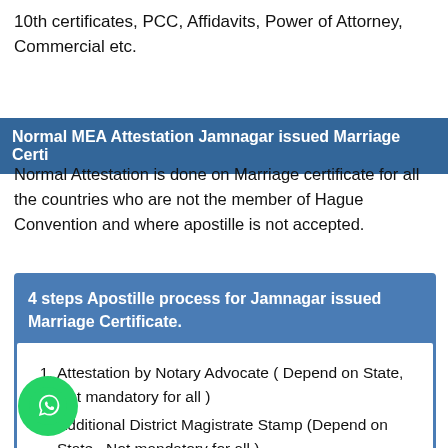10th certificates, PCC, Affidavits, Power of Attorney, Commercial etc.
Normal MEA Attestation Jamnagar issued Marriage Certi
Normal Attestation is done on Marriage certificate for all the countries who are not the member of Hague Convention and where apostille is not accepted.
4 steps Apostille process for Jamnagar issued Marriage Certificate.
Attestation by Notary Advocate ( Depend on State, Not mandatory for all )
Additional District Magistrate Stamp (Depend on State...Not mandatory for all )
Attestation from State Home Department (GAD)